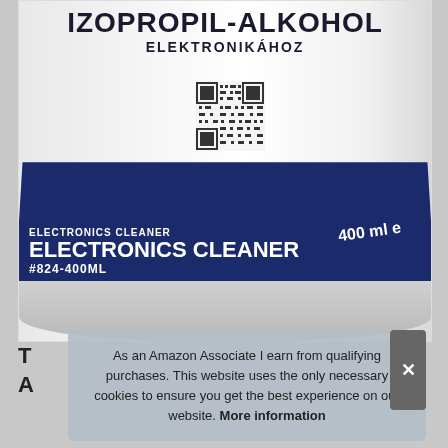[Figure (photo): A bottle of isopropyl alcohol electronics cleaner (IZOPROPIL-ALKOHOL ELEKTRONIKÁHOZ) with a dark navy blue label reading 'ELECTRONICS CLEANER #824-400ML' and '400 ml' on the right side. A QR code is visible on the upper portion of the bottle.]
As an Amazon Associate I earn from qualifying purchases. This website uses the only necessary cookies to ensure you get the best experience on our website. More information